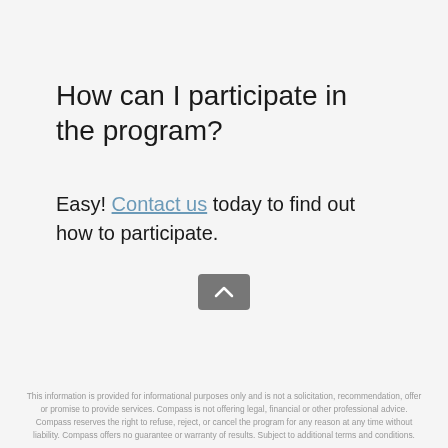How can I participate in the program?
Easy! Contact us today to find out how to participate.
This information is provided for informational purposes only and is not a solicitation, recommendation, offer or promise to provide services. Compass is not offering legal, financial or other professional advice. Compass reserves the right to refuse, reject, or cancel the program for any reason at any time without liability. Compass offers no guarantee or warranty of results. Subject to additional terms and conditions.